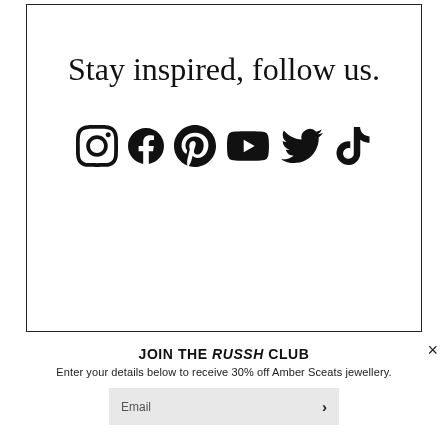Stay inspired, follow us.
[Figure (other): Six social media icons in a row: Instagram, Facebook, Pinterest, YouTube, Twitter/X, TikTok]
×
JOIN THE RUSSH CLUB
Enter your details below to receive 30% off Amber Sceats jewellery.
Email